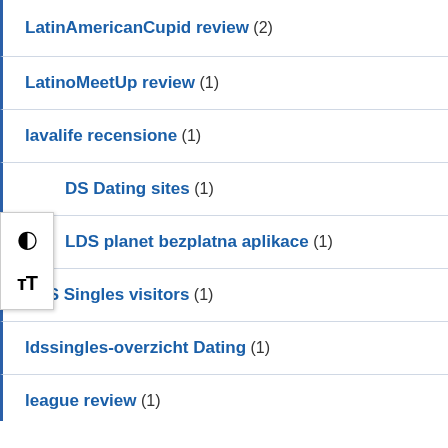LatinAmericanCupid review (2)
LatinoMeetUp review (1)
lavalife recensione (1)
LDS Dating sites (1)
LDS planet bezplatna aplikace (1)
LDS Singles visitors (1)
ldssingles-overzicht Dating (1)
league review (1)